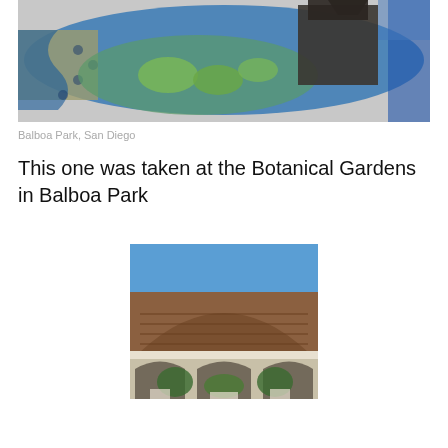[Figure (photo): Top photo of a decorative tiled fountain with lily pads and a lantern structure at Balboa Park, San Diego]
Balboa Park, San Diego
This one was taken at the Botanical Gardens in Balboa Park
[Figure (photo): Photo of the Botanical Building at Balboa Park, San Diego, showing the large arched wooden lath structure on top and three arched openings below with plants visible inside]